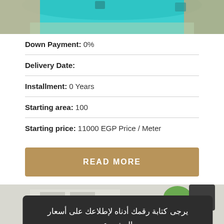[Figure (photo): Top portion of a swimming pool with turquoise water and stone/gravel border visible]
Down Payment: 0%
Delivery Date:
Installment: 0 Years
Starting area: 100
Starting price: 11000 EGP Price / Meter
READ MORE
[Figure (photo): Bottom portion showing a building exterior with palm trees, partially obscured by a dark popup overlay]
يرجى كتابة رقمك أدناه لإطلاعك على أسعار المشروع
رد